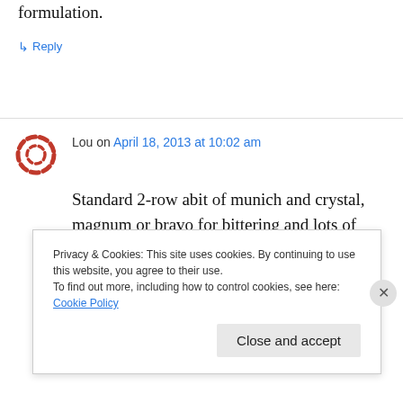formulation.
↳ Reply
Lou on April 18, 2013 at 10:02 am
Standard 2-row abit of munich and crystal, magnum or bravo for bittering and lots of Centennial/Amarillo and Citra late additions and
Privacy & Cookies: This site uses cookies. By continuing to use this website, you agree to their use.
To find out more, including how to control cookies, see here: Cookie Policy